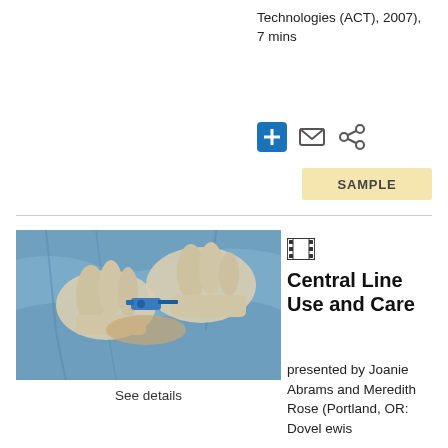Technologies (ACT), 2007), 7 mins
[Figure (other): Three blue icon buttons: plus sign, envelope, and share icons]
SAMPLE
[Figure (photo): Gloved hands working on a central line/IV catheter on a patient covered with blue surgical drape]
See details
[Figure (other): Film/video icon (filmstrip)]
Central Line Use and Care
presented by Joanie Abrams and Meredith Rose (Portland, OR: Dovel ewis